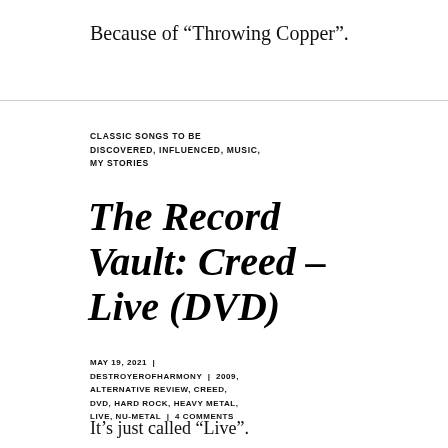Because of “Throwing Copper”.
CLASSIC SONGS TO BE DISCOVERED, INFLUENCED, MUSIC, MY STORIES
The Record Vault: Creed – Live (DVD)
MAY 19, 2021 | DESTROYEROFHARMONY | 2009, ALTERNATIVE REVIEW, CREED, DVD, HARD ROCK, HEAVY METAL, LIVE, NU-METAL | 4 COMMENTS
It’s just called “Live”.